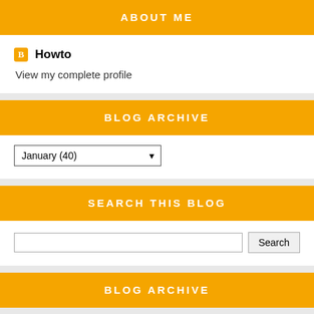ABOUT ME
Howto
View my complete profile
BLOG ARCHIVE
January (40)
SEARCH THIS BLOG
Search
BLOG ARCHIVE